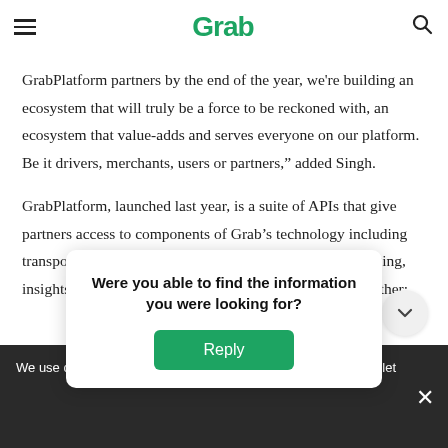Grab
own… at the time empowers our partners to scale their business with our reach and assets. With more than 500
GrabPlatform partners by the end of the year, we're building an ecosystem that will truly be a force to be reckoned with, an ecosystem that value-adds and serves everyone on our platform. Be it drivers, merchants, users or partners," added Singh.
GrabPlatform, launched last year, is a suite of APIs that give partners access to components of Grab's technology including transport, logistics, payments, user authentication, messaging, insights and mapping. With GrabPlatform, partners can either:
Were you able to find the information you were looking for?
Reply
We use co… your user… Cookies w… allet